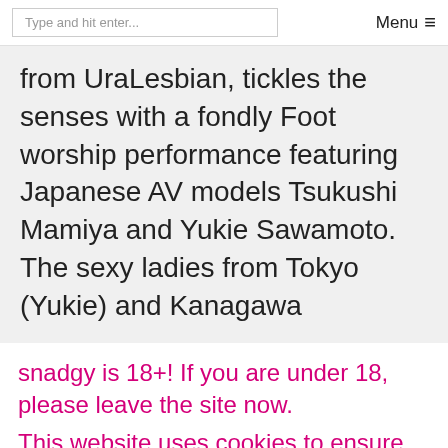Type and hit enter... Menu ☰
from UraLesbian, tickles the senses with a fondly Foot worship performance featuring Japanese AV models Tsukushi Mamiya and Yukie Sawamoto. The sexy ladies from Tokyo (Yukie) and Kanagawa
snadgy is 18+! If you are under 18, please leave the site now.
This website uses cookies to ensure you get the best experience on our website.
Got it!